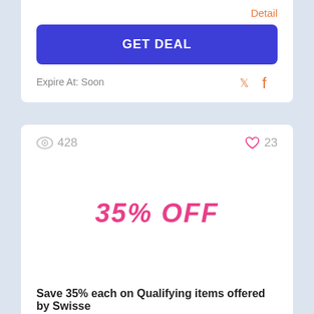Detail
GET DEAL
Expire At: Soon
428
23
35% OFF
Save 35% each on Qualifying items offered by Swisse